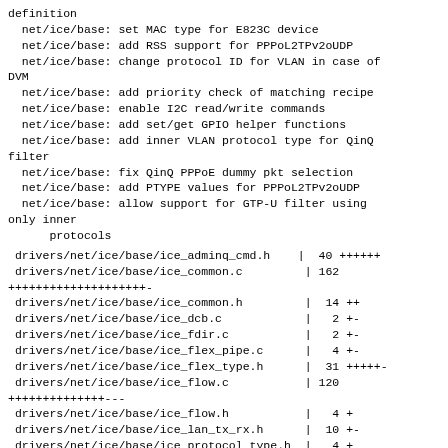definition
  net/ice/base: set MAC type for E823C device
  net/ice/base: add RSS support for PPPoL2TPv2oUDP
  net/ice/base: change protocol ID for VLAN in case of DVM
  net/ice/base: add priority check of matching recipe
  net/ice/base: enable I2C read/write commands
  net/ice/base: add set/get GPIO helper functions
  net/ice/base: add inner VLAN protocol type for QinQ filter
  net/ice/base: fix QinQ PPPoE dummy pkt selection
  net/ice/base: add PTYPE values for PPPoL2TPv2oUDP
  net/ice/base: allow support for GTP-U filter using only inner
      protocols
drivers/net/ice/base/ice_adminq_cmd.h    |  40 ++++++
 drivers/net/ice/base/ice_common.c         | 162
++++++++++++++++++++-
 drivers/net/ice/base/ice_common.h         |  14 ++
 drivers/net/ice/base/ice_dcb.c            |   2 +-
 drivers/net/ice/base/ice_fdir.c           |   2 +-
 drivers/net/ice/base/ice_flex_pipe.c      |   4 +-
 drivers/net/ice/base/ice_flex_type.h      |  31 +++++-
 drivers/net/ice/base/ice_flow.c           | 120
++++++++++++++---
 drivers/net/ice/base/ice_flow.h           |   4 +
 drivers/net/ice/base/ice_lan_tx_rx.h      |  10 +-
 drivers/net/ice/base/ice_protocol_type.h  |   4 +
 drivers/net/ice/base/ice_sched.c          |  11 +-